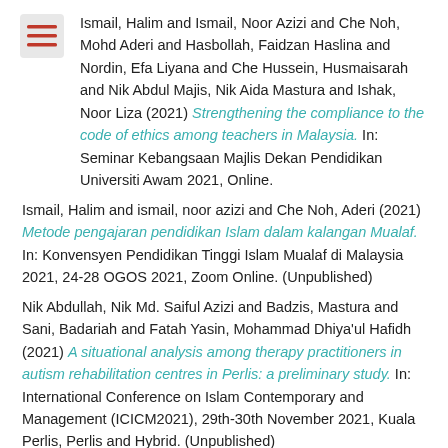Ismail, Halim and Ismail, Noor Azizi and Che Noh, Mohd Aderi and Hasbollah, Faidzan Haslina and Nordin, Efa Liyana and Che Hussein, Husmaisarah and Nik Abdul Majis, Nik Aida Mastura and Ishak, Noor Liza (2021) Strengthening the compliance to the code of ethics among teachers in Malaysia. In: Seminar Kebangsaan Majlis Dekan Pendidikan Universiti Awam 2021, Online.
Ismail, Halim and ismail, noor azizi and Che Noh, Aderi (2021) Metode pengajaran pendidikan Islam dalam kalangan Mualaf. In: Konvensyen Pendidikan Tinggi Islam Mualaf di Malaysia 2021, 24-28 OGOS 2021, Zoom Online. (Unpublished)
Nik Abdullah, Nik Md. Saiful Azizi and Badzis, Mastura and Sani, Badariah and Fatah Yasin, Mohammad Dhiya'ul Hafidh (2021) A situational analysis among therapy practitioners in autism rehabilitation centres in Perlis: a preliminary study. In: International Conference on Islam Contemporary and Management (ICICM2021), 29th-30th November 2021, Kuala Perlis, Perlis and Hybrid. (Unpublished)